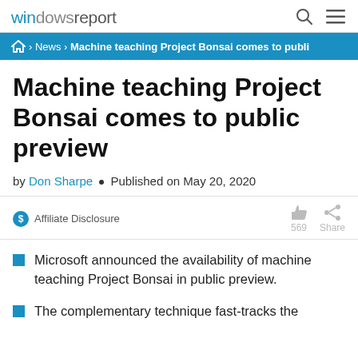windows report
🏠 › News › Machine teaching Project Bonsai comes to publi
Machine teaching Project Bonsai comes to public preview
by Don Sharpe • Published on May 20, 2020
$ Affiliate Disclosure   569 Share
Microsoft announced the availability of machine teaching Project Bonsai in public preview.
The complementary technique fast-tracks the